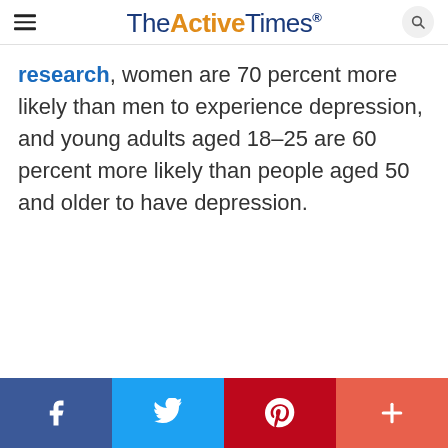TheActiveTimes
research, women are 70 percent more likely than men to experience depression, and young adults aged 18–25 are 60 percent more likely than people aged 50 and older to have depression.
Facebook | Twitter | Pinterest | More